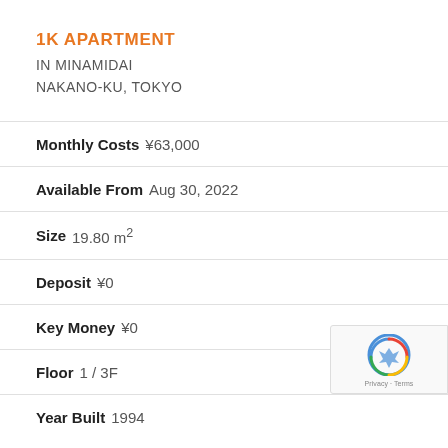1K APARTMENT
IN MINAMIDAI
NAKANO-KU, TOKYO
Monthly Costs ¥63,000
Available From Aug 30, 2022
Size 19.80 m²
Deposit ¥0
Key Money ¥0
Floor 1 / 3F
Year Built 1994